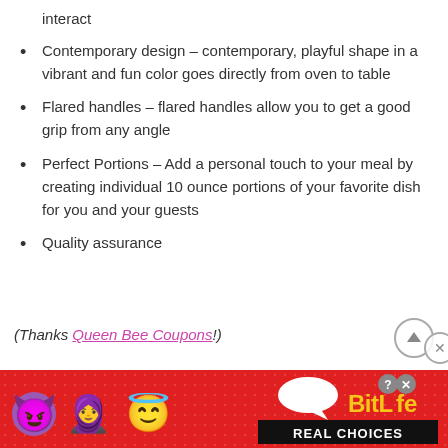interact
Contemporary design – contemporary, playful shape in a vibrant and fun color goes directly from oven to table
Flared handles – flared handles allow you to get a good grip from any angle
Perfect Portions – Add a personal touch to your meal by creating individual 10 ounce portions of your favorite dish for you and your guests
Quality assurance
(Thanks Queen Bee Coupons!)
[Figure (advertisement): BitLife REAL CHOICES mobile game advertisement banner with red background, emoji characters (devil, person, angel), speech bubble, yellow BitLife logo text, and black REAL CHOICES banner]